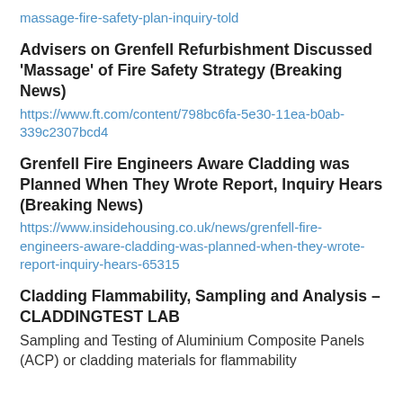massage-fire-safety-plan-inquiry-told
Advisers on Grenfell Refurbishment Discussed ‘Massage’ of Fire Safety Strategy (Breaking News)
https://www.ft.com/content/798bc6fa-5e30-11ea-b0ab-339c2307bcd4
Grenfell Fire Engineers Aware Cladding was Planned When They Wrote Report, Inquiry Hears (Breaking News)
https://www.insidehousing.co.uk/news/grenfell-fire-engineers-aware-cladding-was-planned-when-they-wrote-report-inquiry-hears-65315
Cladding Flammability, Sampling and Analysis – CLADDINGTEST LAB
Sampling and Testing of Aluminium Composite Panels (ACP) or cladding materials for flammability